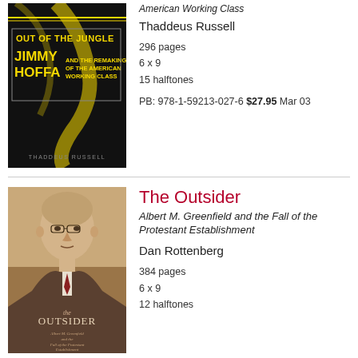[Figure (illustration): Book cover of 'Out of the Jungle: Jimmy Hoffa and the Remaking of the American Working Class' by Thaddeus Russell. Dark background with yellow text.]
American Working Class
Thaddeus Russell
296 pages
6 x 9
15 halftones
PB: 978-1-59213-027-6 $27.95 Mar 03
[Figure (illustration): Book cover of 'The Outsider: Albert M. Greenfield and the Fall of the Protestant Establishment' by Dan Rottenberg. Sepia portrait of a man in a suit.]
The Outsider
Albert M. Greenfield and the Fall of the Protestant Establishment
Dan Rottenberg
384 pages
6 x 9
12 halftones